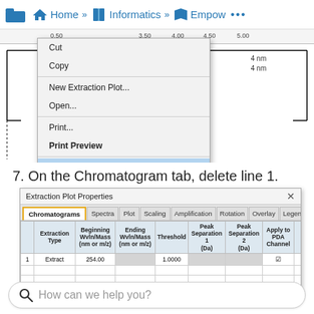Home » Informatics » Empow ...
[Figure (screenshot): Chromatogram plot area with right-click context menu showing options: Cut, Copy, New Extraction Plot..., Open..., Print..., Print Preview, Extraction Plot Properties... Alt+Enter (highlighted). nm labels visible on right side of plot.]
7. On the Chromatogram tab, delete line 1.
[Figure (screenshot): Extraction Plot Properties dialog screenshot showing Chromatograms tab (highlighted with orange border) active, with tabs: Chromatograms, Spectra, Plot, Scaling, Amplification, Rotation, Overlay, Legend, Fonts, Colors, Name. Table shows columns: arrow, Extraction Type, Beginning Wvln/Mass (nm or m/z), Ending Wvln/Mass (nm or m/z), Threshold, Peak Separation 1 (Da), Peak Separation 2 (Da), Apply to PDA Channel. Row 1: Extract, 254.00, [gray], 1.0000, [gray], checkbox checked.]
How can we help you?